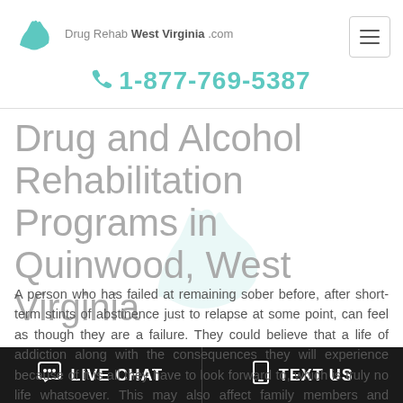Drug Rehab West Virginia .com
1-877-769-5387
Drug and Alcohol Rehabilitation Programs in Quinwood, West Virginia
A person who has failed at remaining sober before, after short-term stints of abstinence just to relapse at some point, can feel as though they are a failure. They could believe that a life of addiction along with the consequences they will experience because of it is all they have to look forward to, which is truly no life whatsoever. This may also affect family members and friends, who very well could have tried to help and confront the individual previously with no
LIVE CHAT   TEXT US